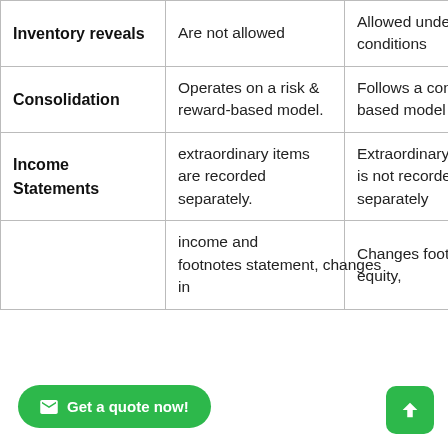| Inventory reveals | Are not allowed | Allowed under some conditions |
| Consolidation | Operates on a risk & reward-based model. | Follows a control based model |
| Income Statements | extraordinary items are recorded separately. | Extraordinary income is not recorded separately |
|  | income and footnotes statement, changes in | Changes footnotes equity, |